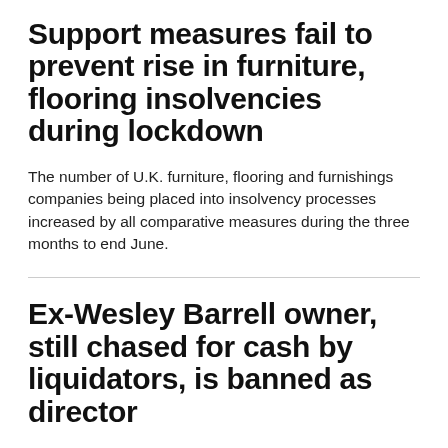Support measures fail to prevent rise in furniture, flooring insolvencies during lockdown
The number of U.K. furniture, flooring and furnishings companies being placed into insolvency processes increased by all comparative measures during the three months to end June.
Ex-Wesley Barrell owner, still chased for cash by liquidators, is banned as director
Ayiaz Ahmed, a serial company owner that has run some of the most storied brands in U.K. furniture retail and production, has been disqualified as a